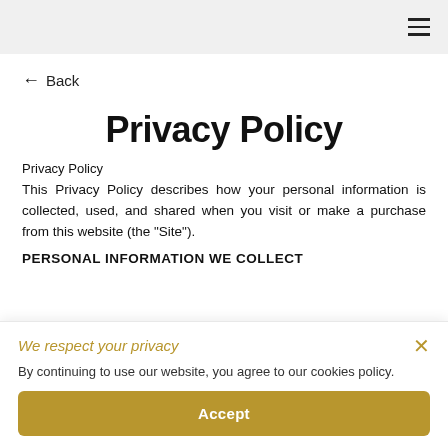≡
← Back
Privacy Policy
Privacy Policy
This Privacy Policy describes how your personal information is collected, used, and shared when you visit or make a purchase from this website (the "Site").
PERSONAL INFORMATION WE COLLECT
We respect your privacy
By continuing to use our website, you agree to our cookies policy.
Accept
the individual web pages or products that you view, what websites